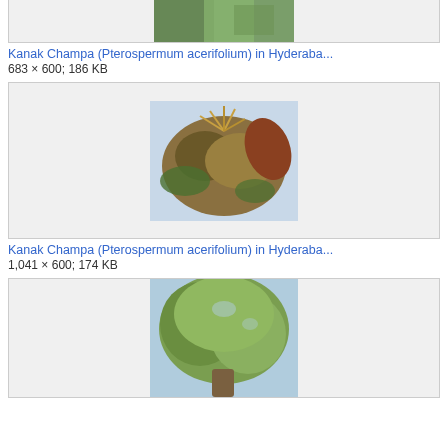[Figure (photo): Top of a plant/tree image, partially cropped at the top of the page]
Kanak Champa (Pterospermum acerifolium) in Hyderaba...
683 × 600; 186 KB
[Figure (photo): Kanak Champa flowers and leaves close-up photo]
Kanak Champa (Pterospermum acerifolium) in Hyderaba...
1,041 × 600; 174 KB
[Figure (photo): Kanak Champa tree full view against sky, partially cropped at bottom]